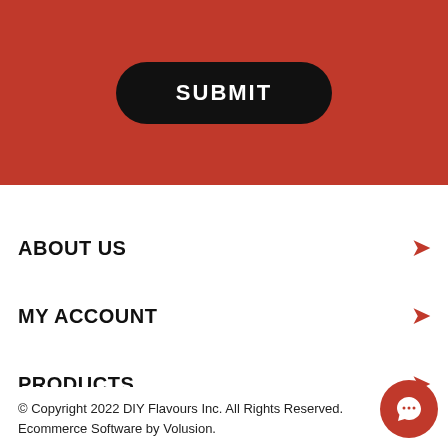[Figure (other): Red banner with a black rounded SUBMIT button]
ABOUT US
MY ACCOUNT
PRODUCTS
HELPFUL INFO
© Copyright 2022 DIY Flavours Inc. All Rights Reserved. Ecommerce Software by Volusion.